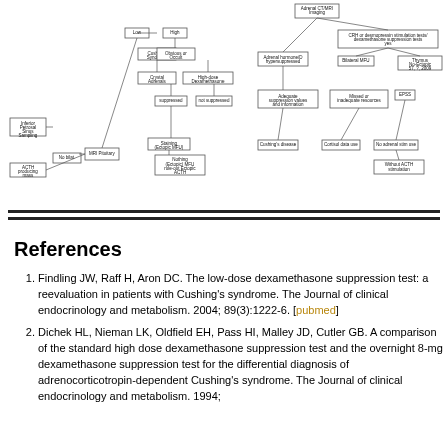[Figure (flowchart): Two clinical decision flowcharts related to Cushing's syndrome evaluation involving ACTH sampling, dexamethasone suppression testing, MRI pituitary, and adrenal imaging pathways.]
References
Findling JW, Raff H, Aron DC. The low-dose dexamethasone suppression test: a reevaluation in patients with Cushing's syndrome. The Journal of clinical endocrinology and metabolism. 2004; 89(3):1222-6. [pubmed]
Dichek HL, Nieman LK, Oldfield EH, Pass HI, Malley JD, Cutler GB. A comparison of the standard high dose dexamethasone suppression test and the overnight 8-mg dexamethasone suppression test for the differential diagnosis of adrenocorticotropin-dependent Cushing's syndrome. The Journal of clinical endocrinology and metabolism. 1994;